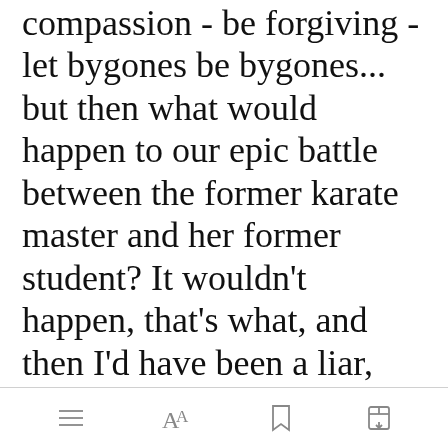compassion - be forgiving - let bygones be bygones... but then what would happen to our epic battle between the former karate master and her former student? It wouldn't happen, that's what, and then I'd have been a liar, and I am not a liar. So, fortunately for my reputation, Black Belt was seeing red and ready to put the hurt on the upstart, little, snot-nosed punk! All her house of cards that was her
[Figure (screenshot): Green 'Open in app' button overlay appearing over text]